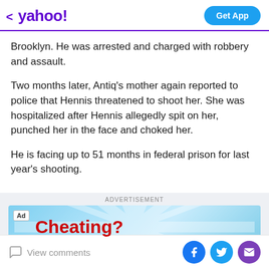< yahoo!   Get App
Brooklyn. He was arrested and charged with robbery and assault.
Two months later, Antiq's mother again reported to police that Hennis threatened to shoot her. She was hospitalized after Hennis allegedly spit on her, punched her in the face and choked her.
He is facing up to 51 months in federal prison for last year's shooting.
[Figure (screenshot): Advertisement banner with 'Ad' badge and red bold text 'Cheating?' on a light blue sunburst background]
View comments   [Facebook] [Twitter] [Mail]